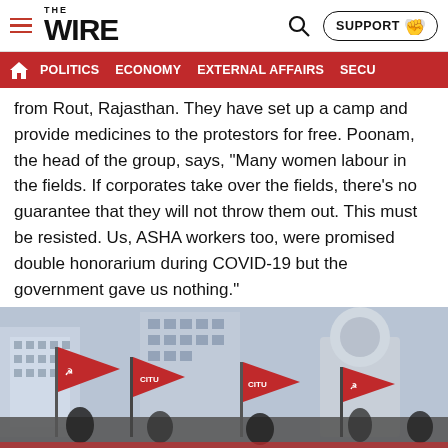THE WIRE — POLITICS | ECONOMY | EXTERNAL AFFAIRS | SECU...
from Rout, Rajasthan. They have set up a camp and provide medicines to the protestors for free. Poonam, the head of the group, says, “Many women labour in the fields. If corporates take over the fields, there’s no guarantee that they will not throw them out. This must be resisted. Us, ASHA workers too, were promised double honorarium during COVID-19 but the government gave us nothing.”
[Figure (photo): Protest scene with people holding red CITU flags in front of urban buildings]
Videos | Editor's Pick | Trending | NEXT >